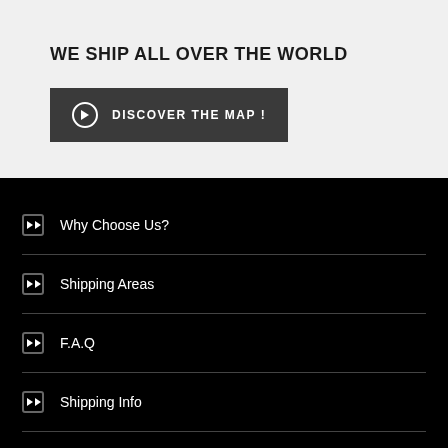WE SHIP ALL OVER THE WORLD
DISCOVER THE MAP !
Why Choose Us?
Shipping Areas
F.A.Q
Shipping Info
Contact us
Blog